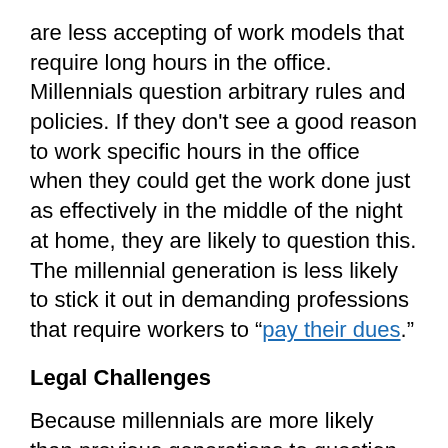are less accepting of work models that require long hours in the office. Millennials question arbitrary rules and policies. If they don't see a good reason to work specific hours in the office when they could get the work done just as effectively in the middle of the night at home, they are likely to question this. The millennial generation is less likely to stick it out in demanding professions that require workers to “pay their dues.”
Legal Challenges
Because millennials are more likely than previous generations to question policies or directions that don't make sense to them, it is important for employers to have their workplace rules clearly set out and their rational explained. For example, if it is necessary that employees work in the office